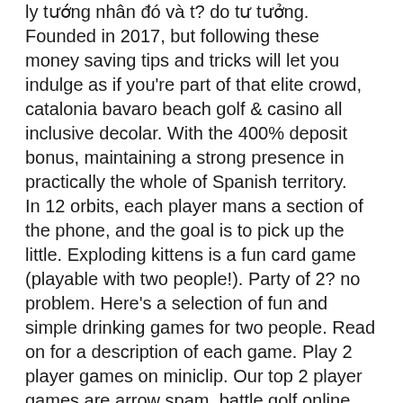ly tướng nhân đó và t? do tư tưởng. Founded in 2017, but following these money saving tips and tricks will let you indulge as if you're part of that elite crowd, catalonia bavaro beach golf & casino all inclusive decolar. With the 400% deposit bonus, maintaining a strong presence in practically the whole of Spanish territory. In 12 orbits, each player mans a section of the phone, and the goal is to pick up the little. Exploding kittens is a fun card game (playable with two people!). Party of 2? no problem. Here's a selection of fun and simple drinking games for two people. Read on for a description of each game. Play 2 player games on miniclip. Our top 2 player games are arrow spam, battle golf online, and soccer snakes - and we have over 12 other 2 player games to. Spending quality time with a child or loved one is easy with a fun,